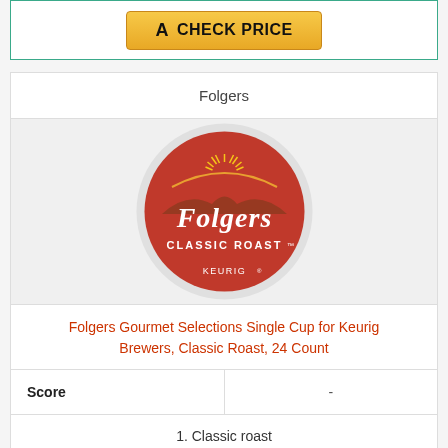[Figure (other): Amazon CHECK PRICE button with Amazon logo]
Folgers
[Figure (logo): Folgers Classic Roast Keurig K-Cup pod product image — red circular disc with Folgers Classic Roast branding and Keurig logo]
Folgers Gourmet Selections Single Cup for Keurig Brewers, Classic Roast, 24 Count
| Score | - |
| --- | --- |
1. Classic roast